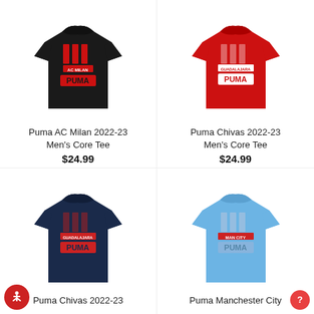[Figure (photo): Puma AC Milan 2022-23 Men's Core Tee – black t-shirt with red AC Milan and Puma graphics]
Puma AC Milan 2022-23 Men's Core Tee
$24.99
[Figure (photo): Puma Chivas 2022-23 Men's Core Tee – red t-shirt with white Chivas Guadalajara and Puma graphics]
Puma Chivas 2022-23 Men's Core Tee
$24.99
[Figure (photo): Puma Chivas 2022-23 Men's Core Tee – navy t-shirt with red Chivas Guadalajara and Puma graphics]
Puma Chivas 2022-23
[Figure (photo): Puma Manchester City Men's Core Tee – light blue t-shirt with Man City and Puma graphics]
Puma Manchester City